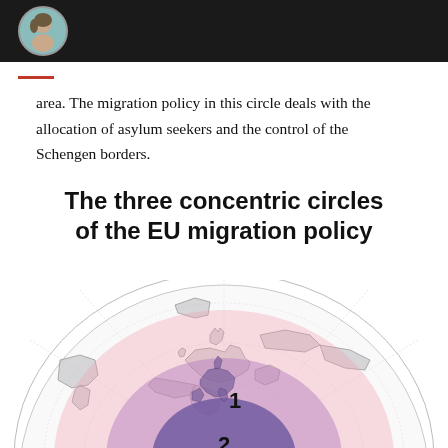area. The migration policy in this circle deals with the allocation of asylum seekers and the control of the Schengen borders.
The three concentric circles of the EU migration policy
[Figure (infographic): Globe viewed from above showing three concentric colored circles overlaid on Europe and surrounding regions. The innermost circle (labeled '1') is dark purple covering EU core countries. The second circle (labeled '2') is medium purple/pink extending to neighboring regions. The third outermost circle is light pink extending further. A faint globe grid and continent outlines are visible beneath.]